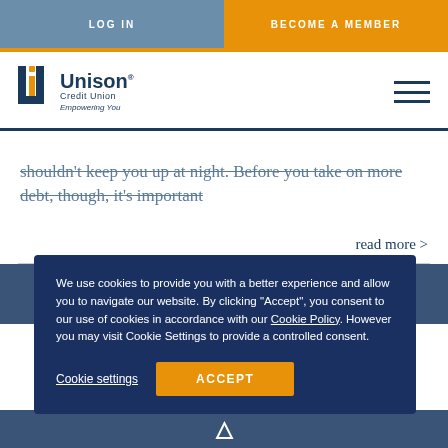LOG IN | BECOME A MEMBER
[Figure (logo): Unison Credit Union logo with text 'Empowering You' and hamburger menu icon]
shouldn't keep you up at night. Before you take on more debt, though, it's important
read more >
We use cookies to provide you with a better experience and allow you to navigate our website. By clicking "Accept", you consent to our use of cookies in accordance with our Cookie Policy. However you may visit Cookie Settings to provide a controlled consent.
Cookie settings | ACCEPT